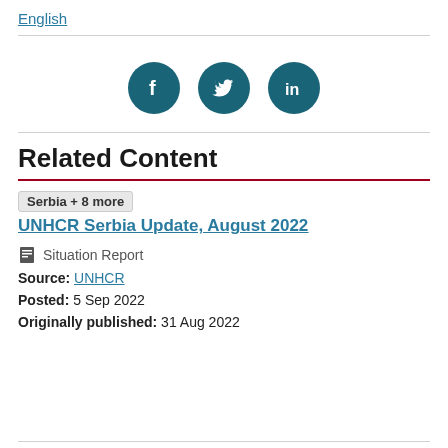English
[Figure (infographic): Three circular social media share buttons: Facebook (f), Twitter (bird icon), LinkedIn (in), teal/dark teal color]
Related Content
Serbia + 8 more   UNHCR Serbia Update, August 2022
Situation Report
Source: UNHCR
Posted: 5 Sep 2022
Originally published: 31 Aug 2022